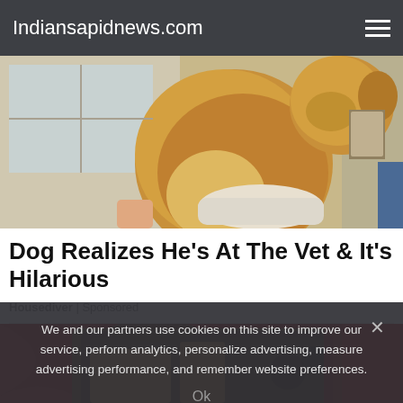Indiansapidnews.com
[Figure (photo): A fluffy golden dog sitting up on its hind legs at what appears to be a veterinary clinic, viewed from behind/side, with medical office interior visible]
Dog Realizes He's At The Vet & It's Hilarious
Housediver | Sponsored
[Figure (photo): A handbag or purse with red fabric and decorative elements visible]
We and our partners use cookies on this site to improve our service, perform analytics, personalize advertising, measure advertising performance, and remember website preferences.
Ok